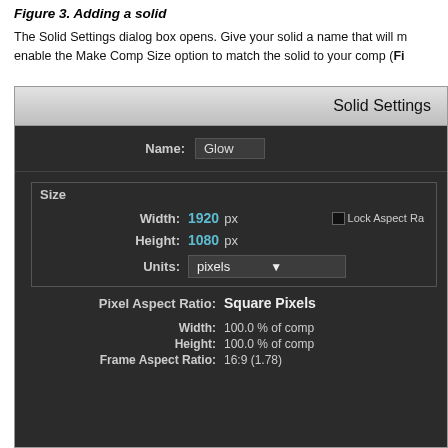Figure 3. Adding a solid
The Solid Settings dialog box opens. Give your solid a name that will m... enable the Make Comp Size option to match the solid to your comp (Fi...
[Figure (screenshot): Adobe After Effects Solid Settings dialog box showing a dark-themed UI. Title bar reads 'Solid Settings'. Fields shown: Name: Glow, Size section with Width: 1920 px, Height: 1080 px, Units: pixels, Pixel Aspect Ratio: Square Pixels, Width: 100.0% of comp, Height: 100.0% of comp, Frame Aspect Ratio: 16:9 (1.78). Lock Aspect Ratio checkbox visible.]